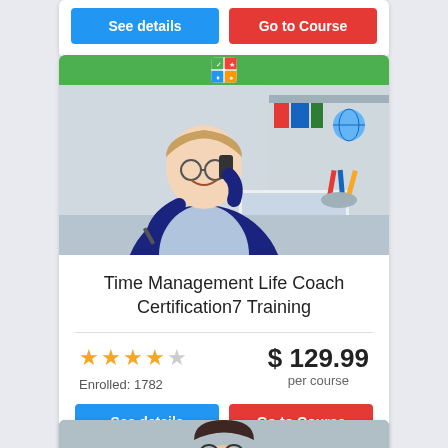[Figure (screenshot): Partial top course card showing blue 'See details' and red 'Go to Course' buttons]
[Figure (photo): Photo of a smiling woman wearing glasses and a blazer, talking on a phone and writing, with a laptop and bookshelf in the background, under a green header bar with a shield/crest icon]
Time Management Life Coach Certification7 Training
Enrolled: 1782
$ 129.99 per course
See details
Go to Course
[Figure (photo): Partial photo at bottom showing a man wearing glasses, partially visible]